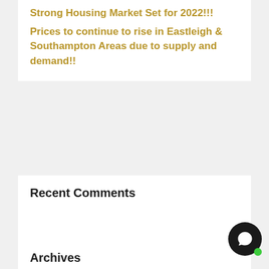Strong Housing Market Set for 2022!!!
Prices to continue to rise in Eastleigh & Southampton Areas due to supply and demand!!
Recent Comments
Archives
July 2021
June 2021
May 2021